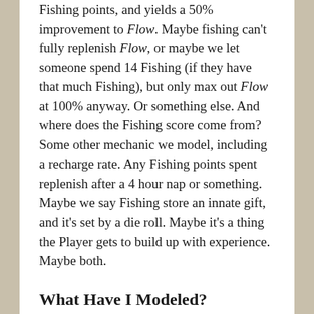Fishing points, and yields a 50% improvement to Flow. Maybe fishing can't fully replenish Flow, or maybe we let someone spend 14 Fishing (if they have that much Fishing), but only max out Flow at 100% anyway. Or something else. And where does the Fishing score come from? Some other mechanic we model, including a recharge rate. Any Fishing points spent replenish after a 4 hour nap or something. Maybe we say Fishing store an innate gift, and it's set by a die roll. Maybe it's a thing the Player gets to build up with experience. Maybe both.
What Have I Modeled?
That's two ways of modeling fishing, with two different mechanical systems to gamify the